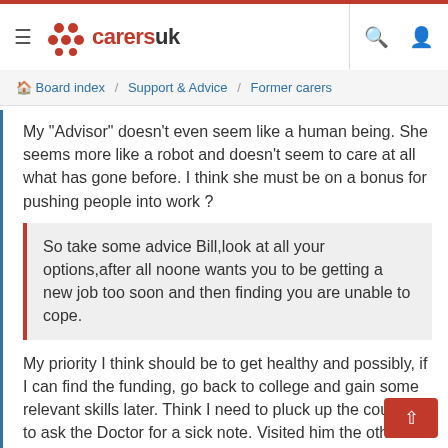≡  carersuk  🔍  👤
Board index / Support & Advice / Former carers
My "Advisor" doesn't even seem like a human being. She seems more like a robot and doesn't seem to care at all what has gone before. I think she must be on a bonus for pushing people into work ?
So take some advice Bill,look at all your options,after all noone wants you to be getting a new job too soon and then finding you are unable to cope.
My priority I think should be to get healthy and possibly, if I can find the funding, go back to college and gain some relevant skills later. Think I need to pluck up the courage to ask the Doctor for a sick note. Visited him the other week about a soreness in my right side. I've had this for a couple of years , but didn't want to go see about it earlier, as if I did at the time, caring for my Mum would have been interru... With her dementia I dont think she could have handled having someone else from outside. Doctor thinks I could